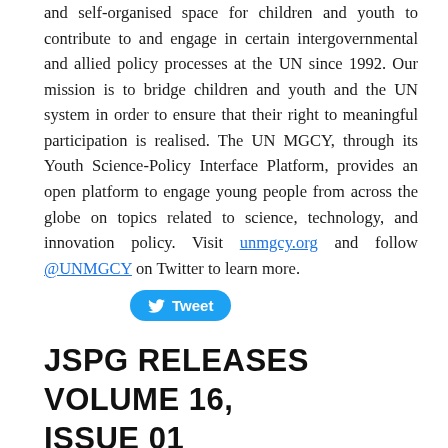and self-organised space for children and youth to contribute to and engage in certain intergovernmental and allied policy processes at the UN since 1992. Our mission is to bridge children and youth and the UN system in order to ensure that their right to meaningful participation is realised. The UN MGCY, through its Youth Science-Policy Interface Platform, provides an open platform to engage young people from across the globe on topics related to science, technology, and innovation policy. Visit unmgcy.org and follow @UNMGCY on Twitter to learn more.
[Figure (other): A Twitter 'Tweet' button in blue with bird icon]
JSPG RELEASES VOLUME 16, ISSUE 01